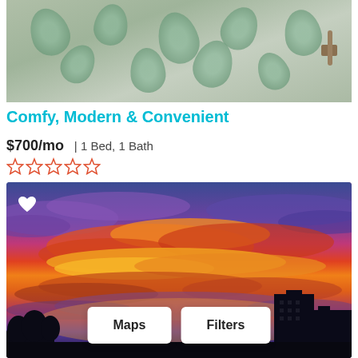[Figure (photo): Bathroom with a white shower curtain featuring a green leaf/floral pattern, with a metal towel bar or hardware on the right side]
Comfy, Modern & Convenient
$700/mo | 1 Bed, 1 Bath
★★★★★ (empty star rating)
[Figure (photo): Dramatic sunset sky with vivid orange, red, yellow, and purple clouds over a cityscape silhouette, with a white heart icon in the top left corner. Maps and Filters buttons visible at the bottom.]